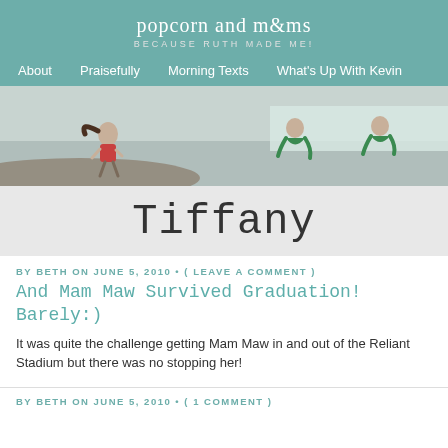popcorn and m&ms / BECAUSE RUTH MADE ME!
About  Praisefully  Morning Texts  What's Up With Kevin
[Figure (photo): Outdoor photo of children and an adult at a beach/rocky area. A girl in a red top runs on the left, two figures in green shirts crouch in the middle and right background.]
Tiffany
BY BETH ON JUNE 5, 2010 • ( LEAVE A COMMENT )
And Mam Maw Survived Graduation! Barely:)
It was quite the challenge getting Mam Maw in and out of the Reliant Stadium but there was no stopping her!
BY BETH ON JUNE 5, 2010 • ( 1 COMMENT )